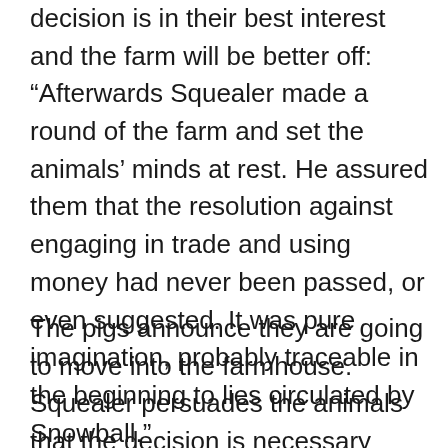decision is in their best interest and the farm will be better off: “Afterwards Squealer made a round of the farm and set the animals’ minds at rest. He assured them that the resolution against engaging in trade and using money had never been passed, or even suggested. It was pure imagination, probably traceable in the beginning to lies circulated by Snowball.”
The pigs announce they are going to move into the farmhouse. Squealer persuades the animals that the decision is necessary because they need a quiet place to work: “It was also more suited to the dignity of the Leader, to live in a house than in a mere sty